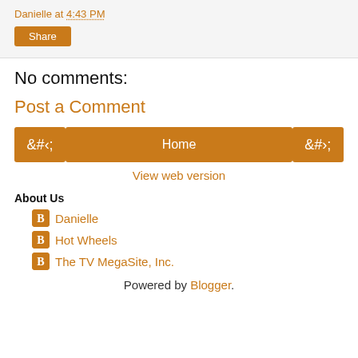Danielle at 4:43 PM
Share
No comments:
Post a Comment
< Home >
View web version
About Us
Danielle
Hot Wheels
The TV MegaSite, Inc.
Powered by Blogger.